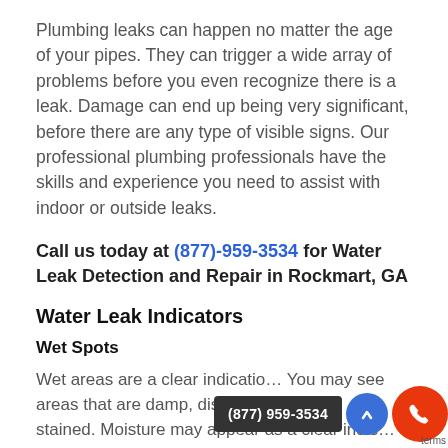Plumbing leaks can happen no matter the age of your pipes. They can trigger a wide array of problems before you even recognize there is a leak. Damage can end up being very significant, before there are any type of visible signs. Our professional plumbing professionals have the skills and experience you need to assist with indoor or outside leaks.
Call us today at (877)-959-3534 for Water Leak Detection and Repair in Rockmart, GA
Water Leak Indicators
Wet Spots
Wet areas are a clear indication... You may see areas that are damp, discolored ... stained. Moisture may appear...